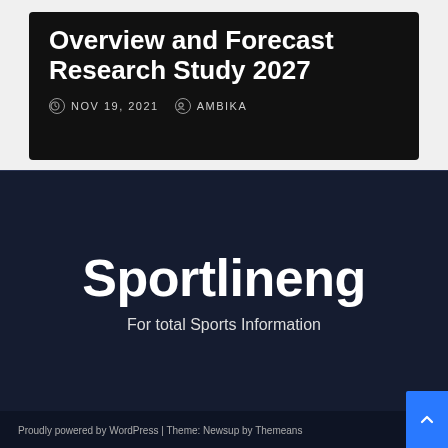Overview and Forecast Research Study 2027
NOV 19, 2021   AMBIKA
Sportlineng
For total Sports Information
Proudly powered by WordPress | Theme: Newsup by Themeans
Advertise With Us